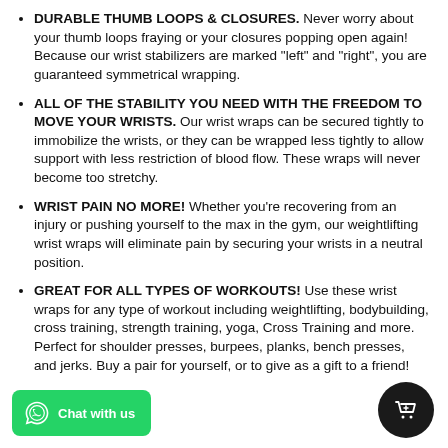DURABLE THUMB LOOPS & CLOSURES. Never worry about your thumb loops fraying or your closures popping open again! Because our wrist stabilizers are marked "left" and "right", you are guaranteed symmetrical wrapping.
ALL OF THE STABILITY YOU NEED WITH THE FREEDOM TO MOVE YOUR WRISTS. Our wrist wraps can be secured tightly to immobilize the wrists, or they can be wrapped less tightly to allow support with less restriction of blood flow. These wraps will never become too stretchy.
WRIST PAIN NO MORE! Whether you're recovering from an injury or pushing yourself to the max in the gym, our weightlifting wrist wraps will eliminate pain by securing your wrists in a neutral position.
GREAT FOR ALL TYPES OF WORKOUTS! Use these wrist wraps for any type of workout including weightlifting, bodybuilding, cross training, strength training, yoga, Cross Training and more. Perfect for shoulder presses, burpees, planks, bench presses, and jerks. Buy a pair for yourself, or to give as a gift to a friend!